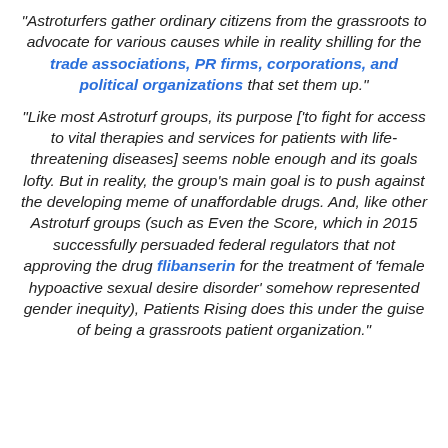“Astroturfers gather ordinary citizens from the grassroots to advocate for various causes while in reality shilling for the trade associations, PR firms, corporations, and political organizations that set them up.
“Like most Astroturf groups, its purpose [‘to fight for access to vital therapies and services for patients with life-threatening diseases] seems noble enough and its goals lofty. But in reality, the group’s main goal is to push against the developing meme of unaffordable drugs. And, like other Astroturf groups (such as Even the Score, which in 2015 successfully persuaded federal regulators that not approving the drug flibanserin for the treatment of ‘female hypoactive sexual desire disorder’ somehow represented gender inequity), Patients Rising does this under the guise of being a grassroots patient organization.”